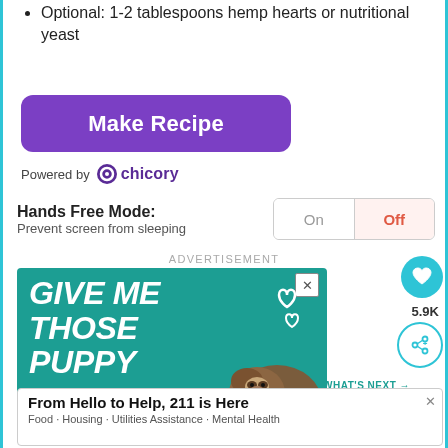Optional: 1-2 tablespoons hemp hearts or nutritional yeast
[Figure (other): Purple 'Make Recipe' button with rounded corners]
Powered by chicory
Hands Free Mode: Prevent screen from sleeping  On | Off
ADVERTISEMENT
[Figure (photo): Advertisement with teal background showing text 'GIVE ME THOSE PUPPY' with heart graphics and a dog photo]
[Figure (other): Bottom banner ad: From Hello to Help, 211 is Here. Food • Housing • Utilities Assistance • Mental Health]